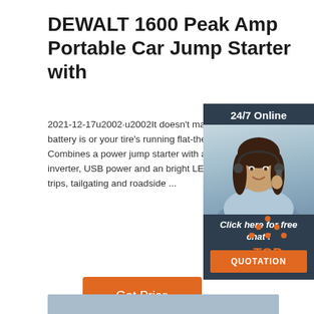DEWALT 1600 Peak Amp Portable Car Jump Starter with
2021-12-17u2002·u2002It doesn't matter w your car won't start, your phone battery is or your tire's running flat-the DXAEPS14 is perfect tool for the job. Combines a power jump starter with a 120 psi digital compres 500-Watt AC inverter, USB power and an bright LED work light-making it perfect for camping trips, tailgating and roadside ...
[Figure (photo): Customer service representative woman with headset, dark hair, smiling, for 24/7 online chat widget with dark navy background, 'Click here for free chat!' text, and orange QUOTATION button]
[Figure (illustration): Orange 'TOP' back-to-top button with dot triangle/arrow above the word TOP in orange text]
[Figure (other): Light blue/steel horizontal strip at bottom of page]